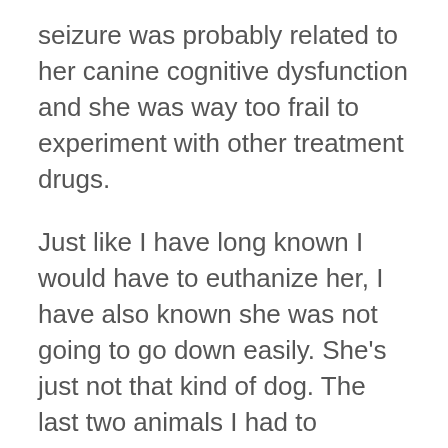seizure was probably related to her canine cognitive dysfunction and she was way too frail to experiment with other treatment drugs.
Just like I have long known I would have to euthanize her, I have also known she was not going to go down easily. She’s just not that kind of dog. The last two animals I had to euthanize were both cats and both were seriously ill. One with cancer that had spread to the brain, the other with complications of diabetes. Both slid away from life with relief, one of them still purring.
In your dreams, Eileen. Everything I knew about Cricket said it would not go that way